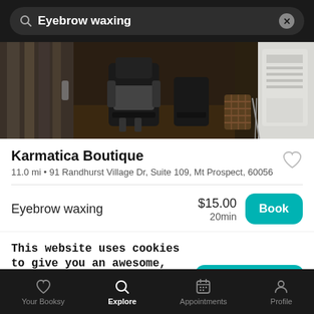Eyebrow waxing
[Figure (photo): Interior of Karmatica Boutique salon showing salon chairs, a wicker basket, and white furniture on hardwood floors.]
Karmatica Boutique
11.0 mi • 91 Randhurst Village Dr, Suite 109, Mt Prospect, 60056
Eyebrow waxing
$15.00
20min
This website uses cookies to give you an awesome, catered user experience. Continuing on after seeing this message means that you're cool with that.
Your Booksy | Explore | Appointments | Profile